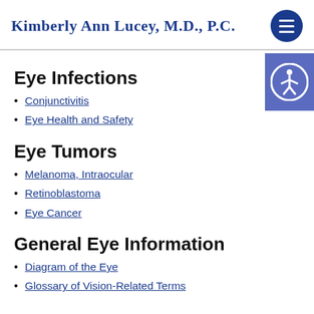Kimberly Ann Lucey, M.D., P.C.
Eye Infections
Conjunctivitis
Eye Health and Safety
Eye Tumors
Melanoma, Intraocular
Retinoblastoma
Eye Cancer
General Eye Information
Diagram of the Eye
Glossary of Vision-Related Terms